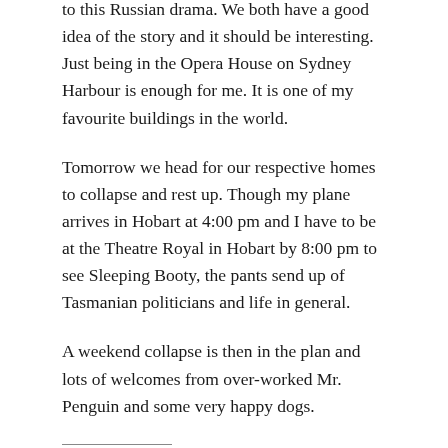to this Russian drama. We both have a good idea of the story and it should be interesting.  Just being in the Opera House on Sydney Harbour is enough for me. It is one of my favourite buildings in the world.
Tomorrow we head for our respective homes to collapse and rest up. Though my plane arrives in Hobart at 4:00 pm and I have to be at the Theatre Royal in Hobart by 8:00 pm to see Sleeping Booty, the pants send up of Tasmanian politicians and life in general.
A weekend collapse is then in the plan and lots of welcomes from over-worked Mr. Penguin and some very happy dogs.
SHARE THIS: